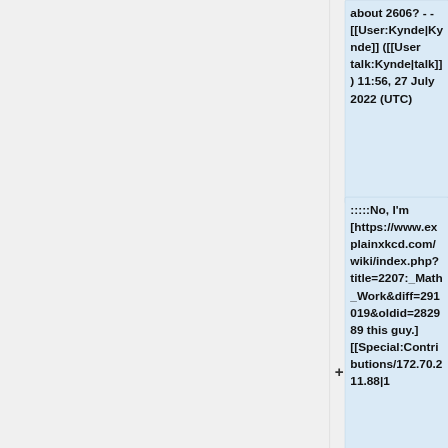about 2606? - - [[User:Kynde|Kynde]] ([[User talk:Kynde|talk]]) 11:56, 27 July 2022 (UTC)
:::No, I'm [https://www.explainxkcd.com/wiki/index.php?title=2207:_Math_Work&diff=291019&oldid=282989 this guy.] [[Special:Contributions/172.70.211.88|1